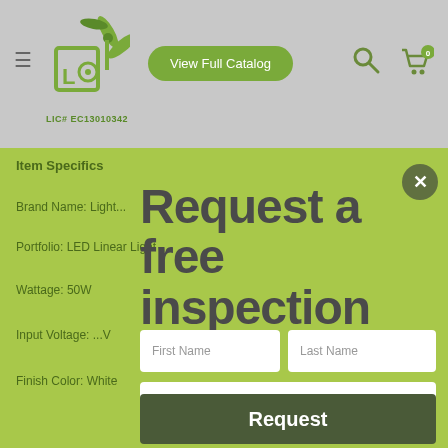[Figure (screenshot): Website header with hamburger menu, logo with wind turbine graphic and LIC# EC13010342, View Full Catalog button, search icon, and cart icon with badge 0]
Item Specifics
Brand Name: Light...
Portfolio: LED Linear Light
Wattage: 50W
Input Voltage: ...V
Finish Color: White
Lumen (±10%): 5500 lm
Request a free inspection
First Name
Last Name
Phone number
Email
Request